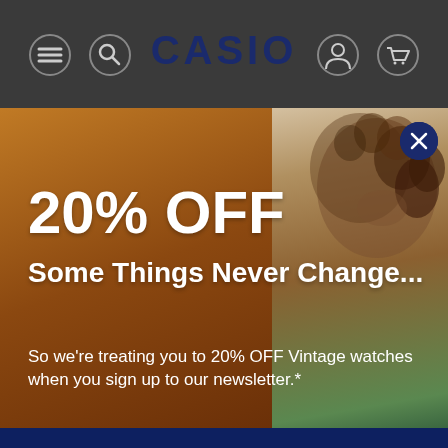[Figure (screenshot): Casio website header with logo and navigation icons on dark gray background]
[Figure (photo): Promotional banner with orange-brown background on left and curly-haired person on right, advertising 20% OFF vintage watches]
20% OFF
Some Things Never Change...
So we're treating you to 20% OFF Vintage watches when you sign up to our newsletter.*
Our site uses cookies. By continuing to use our site, you are agreeing to our Privacy Policy and Cookie Policy.
If you decline, your information won't be tracked when you visit this website. A single cookie will be used in your browser to remember your preference not to be tracked.